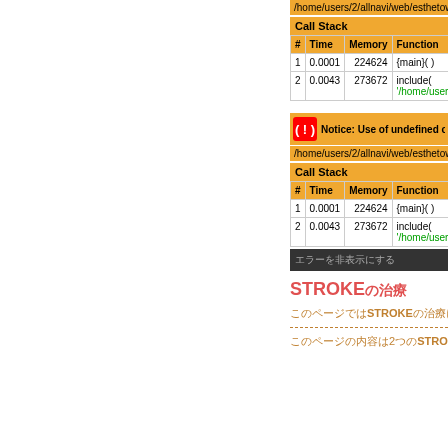/home/users/2/allnavi/web/esthetown/...
Call Stack
| # | Time | Memory | Function |
| --- | --- | --- | --- |
| 1 | 0.0001 | 224624 | {main}( ) |
| 2 | 0.0043 | 273672 | include( '/home/users/2/allna... |
[Figure (screenshot): Notice: Use of undefined constant warning icon with orange background]
/home/users/2/allnavi/web/esthetown/...
Call Stack
| # | Time | Memory | Function |
| --- | --- | --- | --- |
| 1 | 0.0001 | 224624 | {main}( ) |
| 2 | 0.0043 | 273672 | include( '/home/users/2/allna... |
エラーを非表示にする
STROKEの治療
このページではSTROKEの治療についての...
このページの内容は2つのSTROKE...